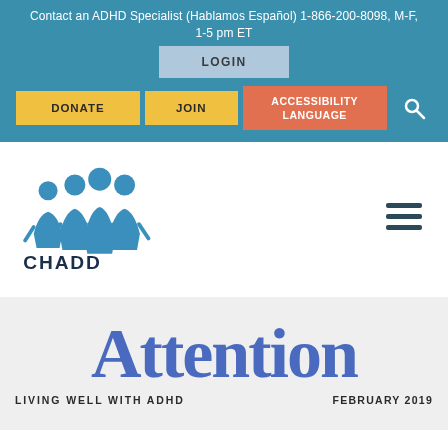Contact an ADHD Specialist (Hablamos Español) 1-866-200-8098, M-F, 1-5 pm ET
LOGIN
DONATE
JOIN
ACCESSIBILITY LANGUAGE
[Figure (logo): CHADD logo with blue figures of people and CHADD text below]
Attention
LIVING WELL WITH ADHD
FEBRUARY 2019